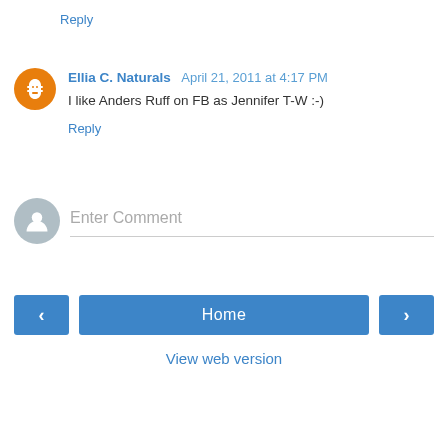Reply
Ellia C. Naturals  April 21, 2011 at 4:17 PM
I like Anders Ruff on FB as Jennifer T-W :-)
Reply
Enter Comment
Home
View web version